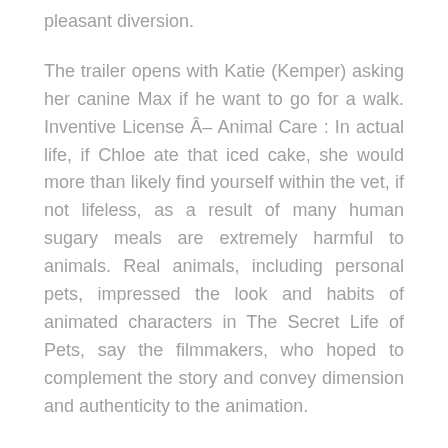pleasant diversion.
The trailer opens with Katie (Kemper) asking her canine Max if he want to go for a walk. Inventive License Â– Animal Care : In actual life, if Chloe ate that iced cake, she would more than likely find yourself within the vet, if not lifeless, as a result of many human sugary meals are extremely harmful to animals. Real animals, including personal pets, impressed the look and habits of animated characters in The Secret Life of Pets, say the filmmakers, who hoped to complement the story and convey dimension and authenticity to the animation.
Illumination founder and CEO Chris Meledandri and his longtime collaborator